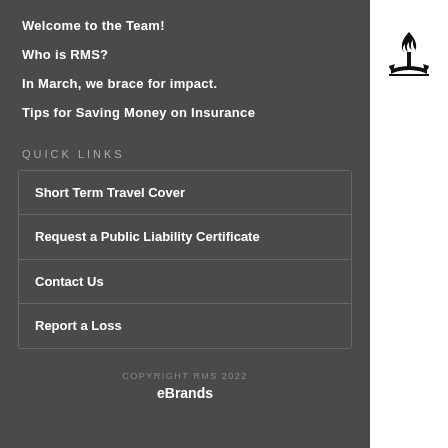Welcome to the Team!
Who is RMS?
In March, we brace for impact.
Tips for Saving Money on Insurance
QUICK LINKS
Short Term Travel Cover
Request a Public Liability Certificate
Contact Us
Report a Loss
COPYRIGHT RMS 2022
eBrands
[Figure (logo): Black flame/torch logo above an open book, RMS branding mark]